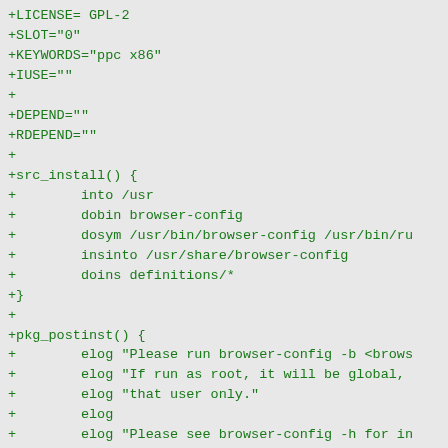+LICENSE= GPL-2
+SLOT="0"
+KEYWORDS="ppc x86"
+IUSE=""
+
+DEPEND=""
+RDEPEND=""
+
+src_install() {
+        into /usr
+        dobin browser-config
+        dosym /usr/bin/browser-config /usr/bin/ru
+        insinto /usr/share/browser-config
+        doins definitions/*
+}
+
+pkg_postinst() {
+        elog "Please run browser-config -b <brows
+        elog "If run as root, it will be global,
+        elog "that user only."
+        elog
+        elog "Please see browser-config -h for in